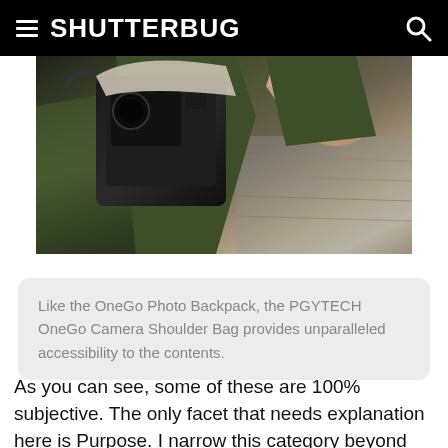SHUTTERBUG
[Figure (photo): A person wearing a dark green jacket opening/accessing a camera shoulder bag, showing camera equipment inside. The photo is cropped, showing the bag being opened from the top.]
Like the OneGo Photo Backpack, the PGYTECH OneGo Camera Shoulder Bag provides unparalleled accessibility to the contents.
As you can see, some of these are 100% subjective. The only facet that needs explanation here is Purpose. I narrow this category beyond what the manufacturer may propose: a bag suitable for fast